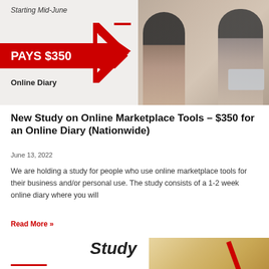[Figure (photo): Banner image showing two women working at laptops in an office setting, with red chevron graphic, 'Starting Mid-June' text, 'PAYS $350' red badge, and 'Online Diary' label]
New Study on Online Marketplace Tools – $350 for an Online Diary (Nationwide)
June 13, 2022
We are holding a study for people who use online marketplace tools for their business and/or personal use. The study consists of a 1-2 week online diary where you will
Read More »
[Figure (photo): Bottom banner showing the word 'Study' in bold italic and a food photo (appears to be french fries/chips) with red diagonal stripe graphic element]